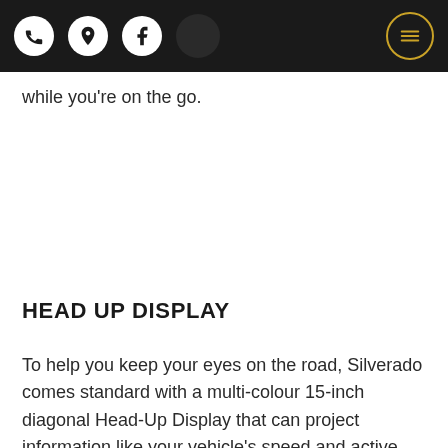[Navigation bar with phone, location, facebook, dark circle, and hamburger menu icons]
while you're on the go.
HEAD UP DISPLAY
To help you keep your eyes on the road, Silverado comes standard with a multi-colour 15-inch diagonal Head-Up Display that can project information like your vehicle's speed and active